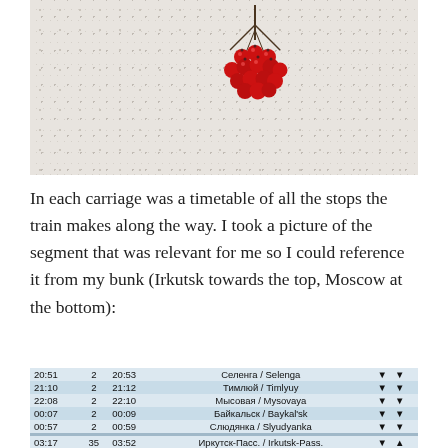[Figure (photo): A cluster of small red berries on a speckled granite/stone surface, photographed from above.]
In each carriage was a timetable of all the stops the train makes along the way. I took a picture of the segment that was relevant for me so I could reference it from my bunk (Irkutsk towards the top, Moscow at the bottom):
[Figure (photo): Photo of a train timetable showing stops with arrival/departure times. Rows include: 20:51 / 2 / 20:53 / Селенга / Selenga; 21:10 / 2 / 21:12 / Тимлюй / Timlyuy; 22:08 / 2 / 22:10 / Мысовая / Mysovaya; 00:07 / 2 / 00:09 / Байкальск / Baykal'sk; 00:57 / 2 / 00:59 / Слюдянка / Slyudyanka; 03:17 / 35 / 03:52 / Иркутск-Пасс. / Irkutsk-Pass.; 04:05 / 2 / 04:07 / Иркутск-Сорт. / Irkutsk-Sort; 04:46 / 3 / 04:49 / Ангарск / Angarsk; 05:16 / 2 / 05:18 / Усолье-Сиб. / Usol'ye-Sib.; 06:12 / 2 / 06:14 / Черемхово / Cheremkhovo; 07:10 / 2 / 07:12 / Залари / Zalari]